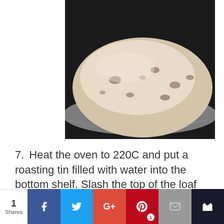[Figure (photo): A close-up photo of an unbaked bread loaf on foil, showing a pale dough with visible inclusions (likely onion or other mix-ins), photographed from above at an angle.]
7. Heat the oven to 220C and put a roasting tin filled with water into the bottom shelf.  Slash the top of the loaf with a very sharp knife (or a razor blade) and sprinkle with a little flour.  Put the loaf into the oven and at the
[Figure (infographic): Social sharing bar with share count (1 Shares), Facebook, Twitter, Google+, Pinterest (with badge 1), Email, and crown/bookmark buttons.]